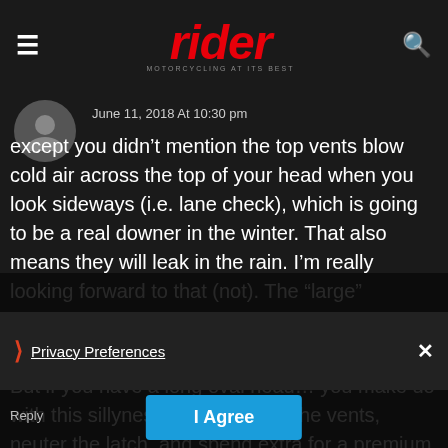rider MOTORCYCLING AT ITS BEST
June 11, 2018 At 10:30 pm
except you didn't mention the top vents blow cold air across the top of your head when you look sideways (i.e. lane check), which is going to be a real downer in the winter. That also means they will leak in the rain. I'm really looking forward to that (not). The "large" faceshield latch is difficult to use with gloves on, and frankly, rather useless.
But if you have a long oval head... you make do with this sillyness. Duct tape on the vents, neuter the latch, and spend extra for a premium helmet.
Privacy Preferences
I Agree
Reply